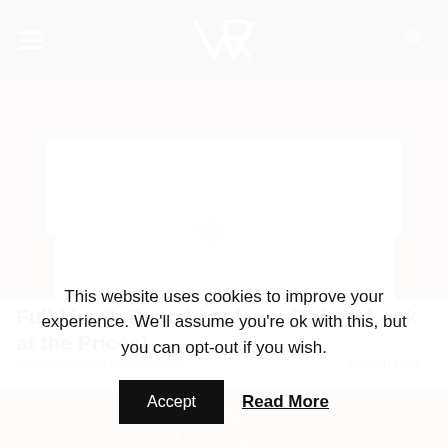VR (logo) with hamburger menu and search icon
[Figure (photo): Close-up photo of a person smiling showing white dental implants/veneers with stubble visible on chin]
Full Mouth Dental Implants (Take a Look at the Prices)
Dental Implants | Search Ads
[Figure (photo): Partial photo with golden/tan background showing stacked rings, bottom portion of second ad]
This website uses cookies to improve your experience. We'll assume you're ok with this, but you can opt-out if you wish.